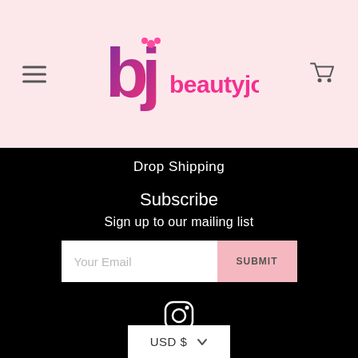[Figure (logo): BeautyJoint logo with stylized 'bj' icon in purple-to-pink gradient and pink 'beautyjoint' text]
Drop Shipping
Subscribe
Sign up to our mailing list
Your Email
SUBMIT
[Figure (other): Instagram icon (rounded square outline with circle and dot)]
USD $